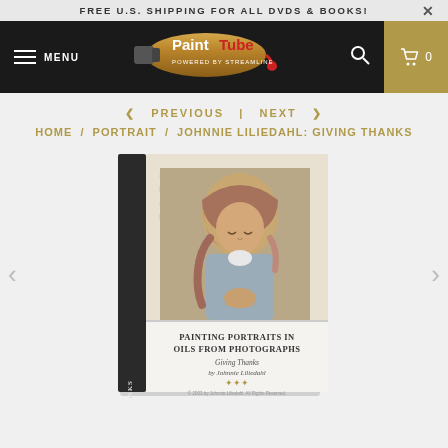FREE U.S. SHIPPING FOR ALL DVDS & BOOKS!
[Figure (logo): PaintTube logo — paint tube graphic with 'PaintTube' text and 'POWERED BY STREAMLINE' subtitle on dark navbar]
MENU
< PREVIOUS  |  NEXT >
HOME / PORTRAIT / JOHNNIE LILIEDAHL: GIVING THANKS
[Figure (photo): DVD box for 'Painting Portraits in Oils from Photographs – Giving Thanks by Johnnie Liliedahl'. Box cover shows a painting of a young girl with a headscarf, hands clasped in prayer. The spine reads 'GIVING THANKS by Johnnie Liliedahl'. The front text reads: PAINTING PORTRAITS IN OILS FROM PHOTOGRAPHS, Giving Thanks, by Johnnie Liliedahl.]